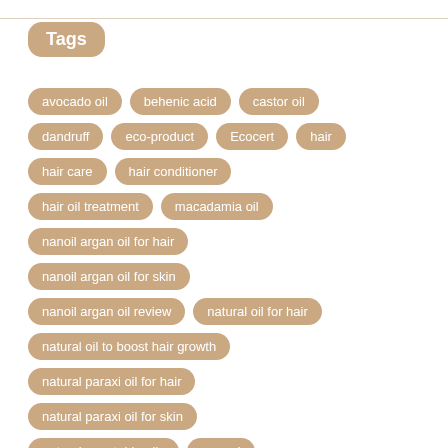Tags
avocado oil
behenic acid
castor oil
dandruff
eco-product
Ecocert
hair
hair care
hair conditioner
hair oil treatment
macadamia oil
nanoil argan oil for hair
nanoil argan oil for skin
nanoil argan oil review
natural oil for hair
natural oil to boost hair growth
natural paraxi oil for hair
natural paraxi oil for skin
natural vegetable oils
normal
organic paraxi oil for hair
paraxi oil benefits
paraxi oil effects